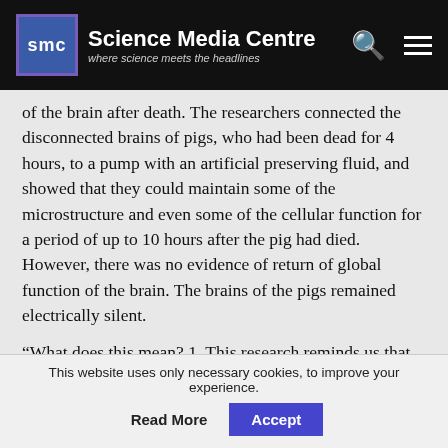Science Media Centre — where science meets the headlines
of the brain after death.  The researchers connected the disconnected brains of pigs, who had been dead for 4 hours, to a pump with an artificial preserving fluid, and showed that they could maintain some of the microstructure and even some of the cellular function for a period of up to 10 hours after the pig had died.  However, there was no evidence of return of global function of the brain.  The brains of the pigs remained electrically silent.
“What does this mean?  1. This research reminds us that ‘death’ is less an event, and more of a process that occurs over time.  Cells within the human organism may be alive for some period of time after the human person has died.
This website uses only necessary cookies, to improve your experience.